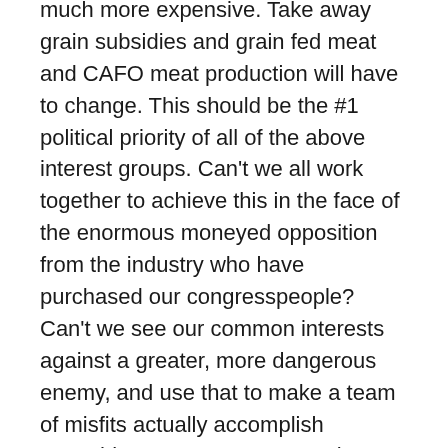much more expensive. Take away grain subsidies and grain fed meat and CAFO meat production will have to change. This should be the #1 political priority of all of the above interest groups. Can't we all work together to achieve this in the face of the enormous moneyed opposition from the industry who have purchased our congresspeople? Can't we see our common interests against a greater, more dangerous enemy, and use that to make a team of misfits actually accomplish something great, Avengers-style. (sorry for that reference if you haven't seen the wonderful movie yet due to adorable baby.)
But I'm the idiot who, though pro-choice, would love to see abortions become…